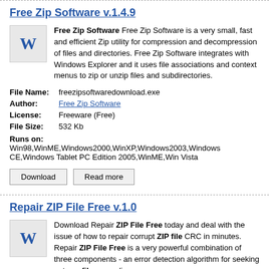Free Zip Software  v.1.4.9
Free Zip Software Free Zip Software is a very small, fast and efficient Zip utility for compression and decompression of files and directories. Free Zip Software integrates with Windows Explorer and it uses file associations and context menus to zip or unzip files and subdirectories.
| File Name: | freezipsoftwaredownload.exe |
| Author: | Free Zip Software |
| License: | Freeware (Free) |
| File Size: | 532 Kb |
Runs on:
Win98,WinME,Windows2000,WinXP,Windows2003,Windows CE,Windows Tablet PC Edition 2005,WinME,Win Vista
Download
Read more
Repair ZIP File Free  v.1.0
Download Repair ZIP File Free today and deal with the issue of how to repair corrupt ZIP file CRC in minutes. Repair ZIP File Free is a very powerful combination of three components - an error detection algorithm for seeking out any file anomalies. ...